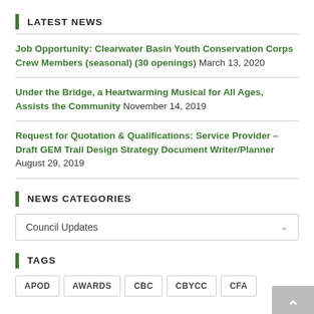LATEST NEWS
Job Opportunity: Clearwater Basin Youth Conservation Corps Crew Members (seasonal) (30 openings) March 13, 2020
Under the Bridge, a Heartwarming Musical for All Ages, Assists the Community November 14, 2019
Request for Quotation & Qualifications: Service Provider – Draft GEM Trail Design Strategy Document Writer/Planner August 29, 2019
NEWS CATEGORIES
Council Updates
TAGS
APOD
AWARDS
CBC
CBYCC
CFA